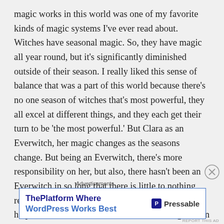magic works in this world was one of my favorite kinds of magic systems I've ever read about. Witches have seasonal magic. So, they have magic all year round, but it's significantly diminished outside of their season. I really liked this sense of balance that was a part of this world because there's no one season of witches that's most powerful, they all excel at different things, and they each get their turn to be 'the most powerful.' But Clara as an Everwitch, her magic changes as the seasons change. But being an Everwitch, there's more responsibility on her, but also, there hasn't been an Everwitch in so long that there is little to nothing really known about how they're really supposed to help others. One of the downsides of the magic of an
Advertisements
[Figure (screenshot): Advertisement banner for Pressable: 'ThePlatform Where WordPress Works Best' with Pressable logo on right]